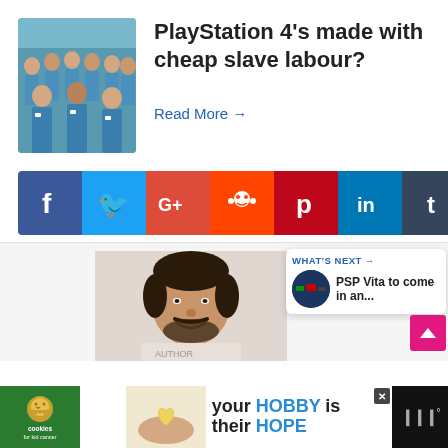[Figure (photo): Group of workers in blue uniforms standing in rows]
PlayStation 4's made with cheap slave labour?
Read More →
[Figure (infographic): Social media sharing bar: Facebook, Twitter, Google+, Reddit, Pinterest, LinkedIn, Tumblr, WhatsApp, Telegram icons]
[Figure (photo): Man with beard smiling, author photo]
WHAT'S NEXT → PSP Vita to come in an...
[Figure (infographic): Advertisement bar: cookies for kid cancer and your HOBBY is their HOPE]